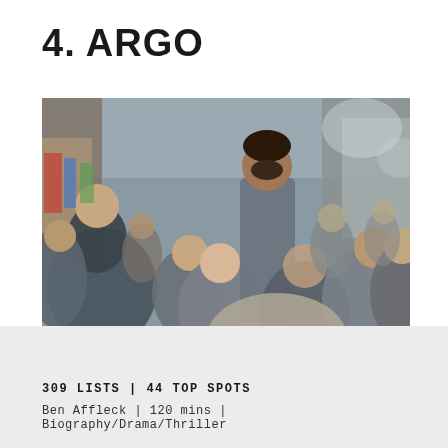4. ARGO
[Figure (photo): Scene from the movie Argo showing a crowd of people in a marketplace, with the main character walking through the crowd.]
309 LISTS | 44 TOP SPOTS
Ben Affleck | 120 mins | Biography/Drama/Thriller